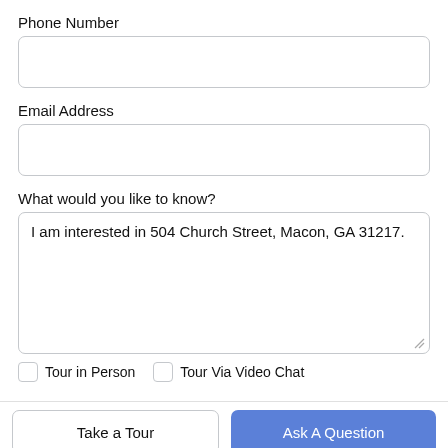Phone Number
[Figure (other): Empty text input box for Phone Number]
Email Address
[Figure (other): Empty text input box for Email Address]
What would you like to know?
[Figure (other): Textarea containing text: I am interested in 504 Church Street, Macon, GA 31217.]
Tour in Person
Tour Via Video Chat
Take a Tour
Ask A Question